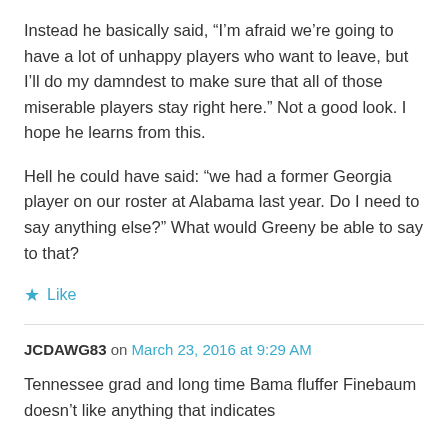Instead he basically said, “I’m afraid we’re going to have a lot of unhappy players who want to leave, but I’ll do my damndest to make sure that all of those miserable players stay right here.” Not a good look. I hope he learns from this.
Hell he could have said: “we had a former Georgia player on our roster at Alabama last year. Do I need to say anything else?” What would Greeny be able to say to that?
★ Like
JCDAWG83 on March 23, 2016 at 9:29 AM
Tennessee grad and long time Bama fluffer Finebaum doesn’t like anything that indicates